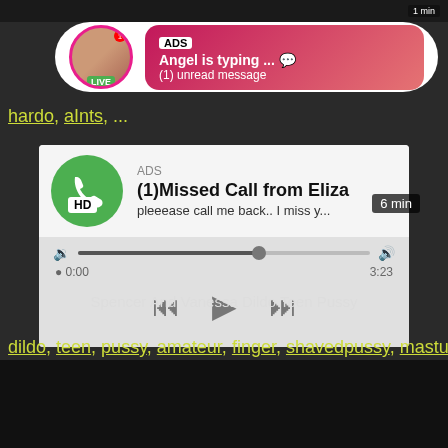[Figure (screenshot): Ad notification bubble with avatar showing LIVE badge and pink gradient message box: ADS, Angel is typing ... (1) unread message]
harde ... alts, ...
[Figure (screenshot): Audio player UI with green phone icon, ADS label, (1)Missed Call from Eliza, pleeease call me back.. I miss y..., progress bar at ~62%, time 0:00 to 3:23, playback controls]
HD   6 min
Spencer And Vanessa Dildo Teen Pussy
dildo, teen, pussy, amateur, finger, shavedpussy, masturb ...